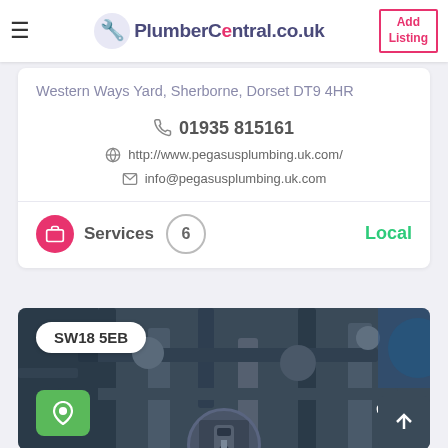PlumberCentral.co.uk | Add Listing
Western Ways Yard, Sherborne, Dorset DT9 4HR
01935 815161
http://www.pegasusplumbing.uk.com/
info@pegasusplumbing.uk.com
Services 6 Local
[Figure (photo): Industrial plumbing pipes and valves background image with SW18 5EB postcode badge overlay, map pin icon, heart icon, boiler circle image, and scroll-up button]